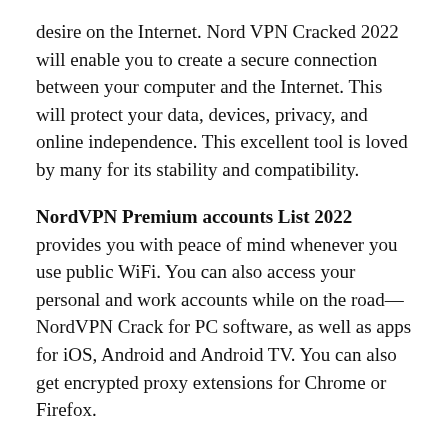desire on the Internet. Nord VPN Cracked 2022 will enable you to create a secure connection between your computer and the Internet. This will protect your data, devices, privacy, and online independence. This excellent tool is loved by many for its stability and compatibility.
NordVPN Premium accounts List 2022 provides you with peace of mind whenever you use public WiFi. You can also access your personal and work accounts while on the road—NordVPN Crack for PC software, as well as apps for iOS, Android and Android TV. You can also get encrypted proxy extensions for Chrome or Firefox.
The best part is that you can simultaneously secure up to 6 devices with one premium account. NordVPN Full version is our first official cybersecurity partner. We are committed to providing more protection to our fans' confidential data, as there is so much information being shared online.